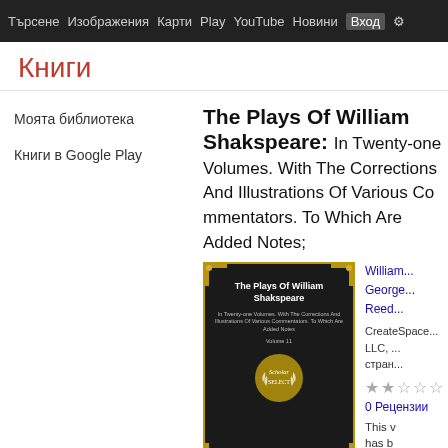Търсене  Изображения  Карти  Play  YouTube  Новини  Вход  [settings icon]
Книги
Моята библиотека
Книги в Google Play
The Plays Of William Shakspeare: In Twenty-one Volumes. With The Corrections And Illustrations Of Various Commentators. To Which Are Added Notes;
[Figure (photo): Book cover for 'The Plays Of William Shakspeare' — black cover with gold border corners, Scholar Select badge, authors listed at bottom: William Shakespeare, George Steevens, Isaac Reed, Samuel Johnson]
William Shakespeare, George Steevens, Isaac Reed
CreatSpace Independent Publishing LLC, страниц
★★☆☆☆
0 Рецензии
This v has b